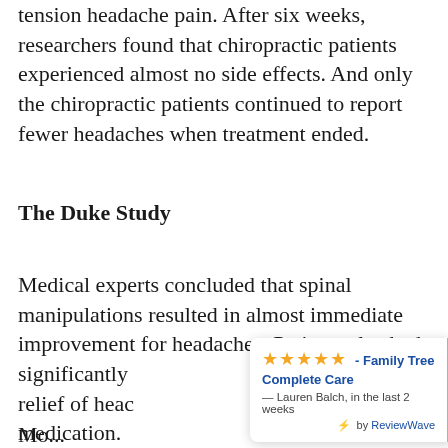tension headache pain. After six weeks, researchers found that chiropractic patients experienced almost no side effects. And only the chiropractic patients continued to report fewer headaches when treatment ended.
The Duke Study
Medical experts concluded that spinal manipulations resulted in almost immediate improvement for headaches. Patients also had significantly [obscured by widget] g relief of heac[obscured] medication.
[Figure (other): ReviewWave review widget showing 5 stars, 'Family Tree Complete Care', attributed to Lauren Balch in the last 2 weeks, with ReviewWave branding and an orange right border.]
Mo...